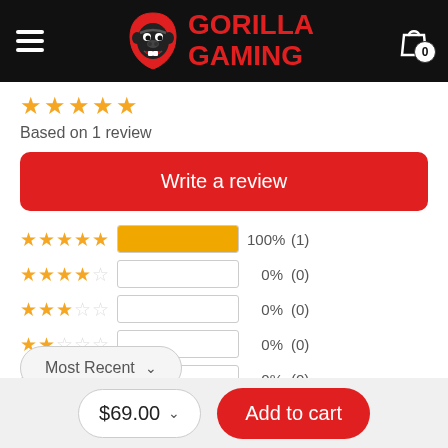[Figure (logo): Gorilla Gaming logo with gorilla icon and red text]
[Figure (infographic): 5 gold stars rating]
Based on 1 review
Write a review
| Stars | Bar | Percentage | Count |
| --- | --- | --- | --- |
| 5 stars | 100% | 100% | (1) |
| 4 stars | 0% | 0% | (0) |
| 3 stars | 0% | 0% | (0) |
| 2 stars | 0% | 0% | (0) |
| 1 star | 0% | 0% | (0) |
Most Recent
$69.00
Add to cart